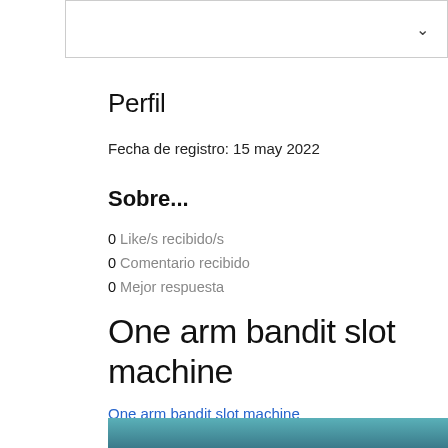[Figure (other): Dropdown/select box UI element with chevron arrow on right]
Perfil
Fecha de registro: 15 may 2022
Sobre...
0 Like/s recibido/s
0 Comentario recibido
0 Mejor respuesta
One arm bandit slot machine
One arm bandit slot machine
[Figure (photo): Partial photo at bottom of page showing teal/blue tones]